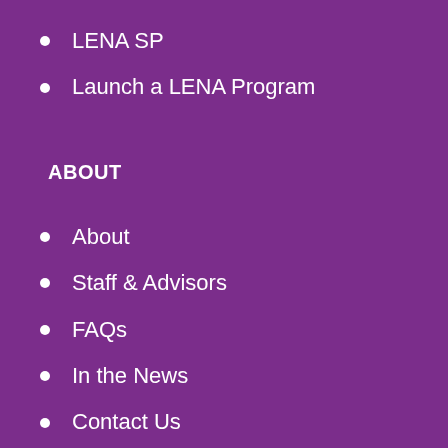LENA SP
Launch a LENA Program
ABOUT
About
Staff & Advisors
FAQs
In the News
Contact Us
LEARN MORE
Newsletter
Blog